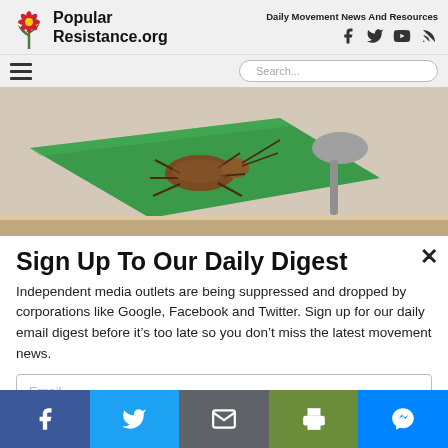Popular Resistance.org — Daily Movement News And Resources
[Figure (illustration): Illustration of a cockroach on a kitchen counter with a spoon and green chopping board]
Sign Up To Our Daily Digest
Independent media outlets are being suppressed and dropped by corporations like Google, Facebook and Twitter. Sign up for our daily email digest before it's too late so you don't miss the latest movement news.
[Figure (screenshot): Email input field and red submit button for newsletter signup]
Social share buttons: Facebook, Twitter, Email, Print, Messenger